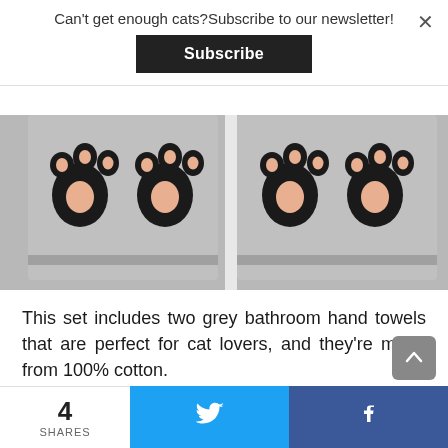Can't get enough cats?Subscribe to our newsletter!
Subscribe
[Figure (photo): Two grey bathroom hand towels with cat paw embroidery side by side on grey fabric background]
This set includes two grey bathroom hand towels that are perfect for cat lovers, and they're made from 100% cotton.
Via Amazon
4
SHARES